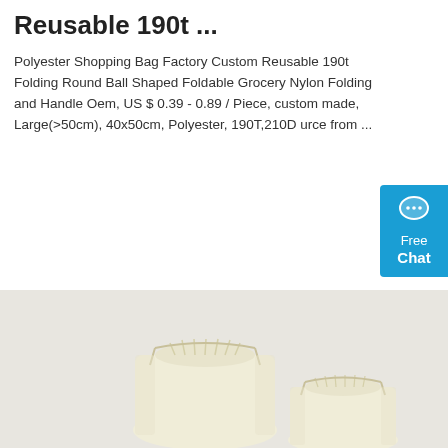Reusable 190t ...
Polyester Shopping Bag Factory Custom Reusable 190t Folding Round Ball Shaped Foldable Grocery Nylon Folding and Handle Oem, US $ 0.39 - 0.89 / Piece, custom made, Large(>50cm), 40x50cm, Polyester, 190T,210D urce from ...
[Figure (other): Orange 'Get Price' button]
[Figure (other): Blue chat widget showing chat bubble icon with 'Free Chat' text]
[Figure (photo): Product photo showing two cream/off-white drawstring bags of different sizes on a light gray background]